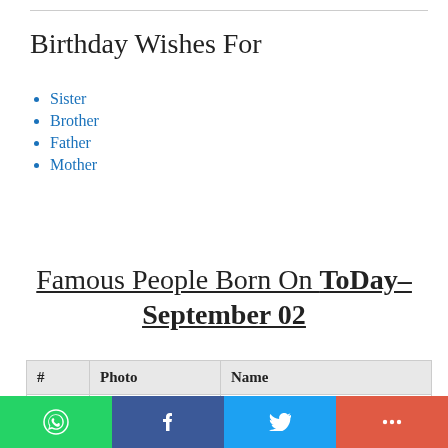Birthday Wishes For
Sister
Brother
Father
Mother
Famous People Born On ToDay-September 02
| # | Photo | Name |
| --- | --- | --- |
| 1 |  | Pawan Kalyan
51 Years |
| 2 |  | Sudeep |
WhatsApp | Facebook | Twitter | +